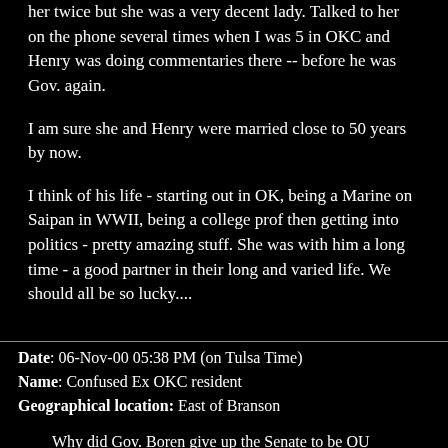her twice but she was a very decent lady. Talked to her on the phone several times when I was 5 in OKC and Henry was doing commentaries there -- before he was Gov. again.
I am sure she and Henry were married close to 50 years by now.
I think of his life - starting out in OK, being a Marine on Saipan in WWII, being a college prof then getting into politics - pretty amazing stuff. She was with him a long time - a good partner in their long and varied life. We should all be so lucky....
Date: 06-Nov-00 05:38 PM (on Tulsa Time)
Name: Confused Ex OKC resident
Geographical location: East of Branson
Why did Gov. Boren give up the Senate to be OU president? Why? Why? Why? Is he still married to Judge Mollie Shi?
Where are Fred and LaDonna Harris now?
Someone said David Hall was either in NM or Palm